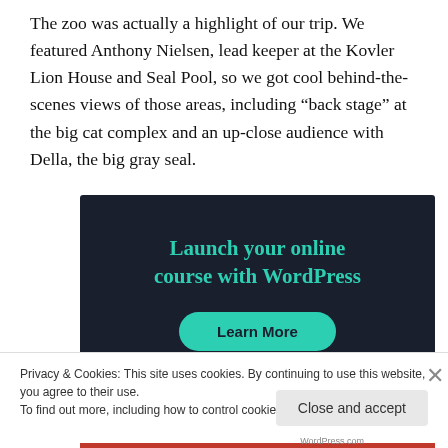The zoo was actually a highlight of our trip. We featured Anthony Nielsen, lead keeper at the Kovler Lion House and Seal Pool, so we got cool behind-the-scenes views of those areas, including “back stage” at the big cat complex and an up-close audience with Della, the big gray seal.
[Figure (other): Advertisement banner with dark navy background showing the text 'Launch your online course with WordPress' in teal/green color, and a 'Learn More' button with a teal rounded pill shape.]
Privacy & Cookies: This site uses cookies. By continuing to use this website, you agree to their use.
To find out more, including how to control cookies, see here: Cookie Policy
Close and accept